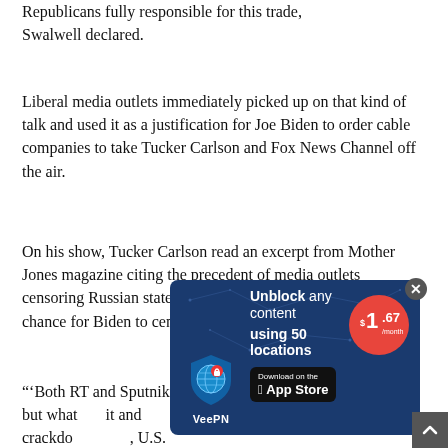Republicans fully responsible for this trade, Swalwell declared.
Liberal media outlets immediately picked up on that kind of talk and used it as a justification for Joe Biden to order cable companies to take Tucker Carlson and Fox News Channel off the air.
On his show, Tucker Carlson read an excerpt from Mother Jones magazine citing the precedent of media outlets censoring Russian state-owned media around the world as a chance for Biden to censor Carlson and Fox News.
“‘Both RT and Sputnik air in the United States, too.’ Untrue, but what ever they don’t know. ‘Will Biden follow suit and crackdo…, U.S. cable co…utlets like Fox…articular — have…told…
[Figure (screenshot): VeePN advertisement overlay: 'Unblock any content using 50 locations' with $1.67/month price badge and App Store download button. Close (x) button visible.]